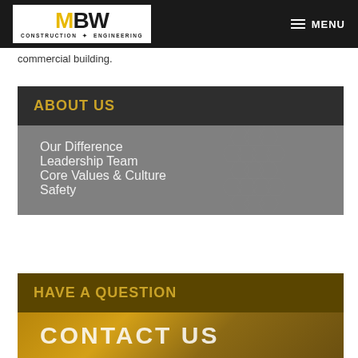MBW CONSTRUCTION & ENGINEERING — MENU
commercial building.
ABOUT US
Our Difference
Leadership Team
Core Values & Culture
Safety
HAVE A QUESTION
CONTACT US